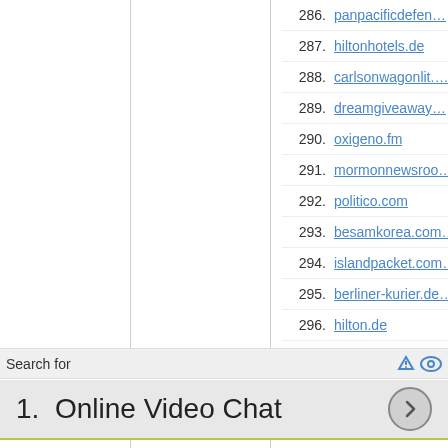286. panpacificdefen…
287. hiltonhotels.de
288. carlsonwagonlit.…
289. dreamgiveaway…
290. oxigeno.fm
291. mormonnewsroo…
292. politico.com
293. besamkorea.com…
294. islandpacket.com…
295. berliner-kurier.de…
296. hilton.de
297. allaboutlawns.co…
Search for
1.  Online Video Chat